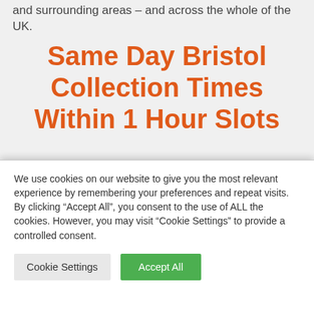and surrounding areas – and across the whole of the UK.
Same Day Bristol Collection Times Within 1 Hour Slots
Our Bristol same day courier service, automatically provides you with a time slot that you can settle upon.
The majority of other courier services keep you waiting in
We use cookies on our website to give you the most relevant experience by remembering your preferences and repeat visits. By clicking "Accept All", you consent to the use of ALL the cookies. However, you may visit "Cookie Settings" to provide a controlled consent.
Cookie Settings | Accept All